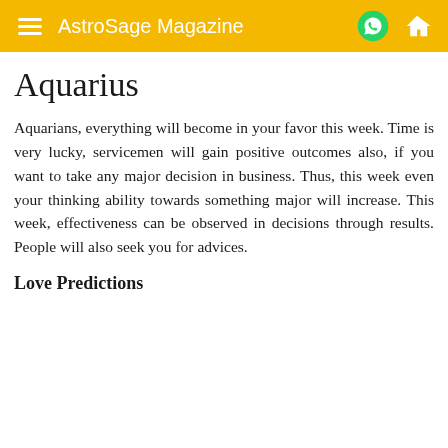AstroSage Magazine
Aquarius
Aquarians, everything will become in your favor this week. Time is very lucky, servicemen will gain positive outcomes also, if you want to take any major decision in business. Thus, this week even your thinking ability towards something major will increase. This week, effectiveness can be observed in decisions through results. People will also seek you for advices.
Love Predictions